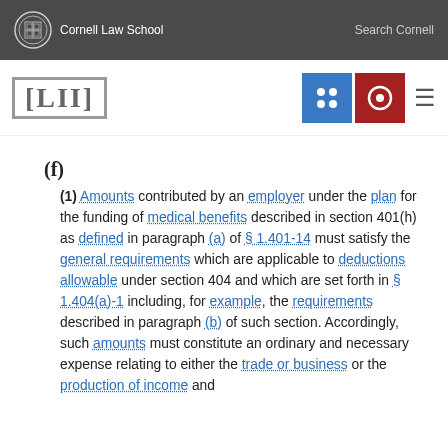Cornell Law School | Search Cornell
[Figure (logo): LII Legal Information Institute logo with navigation icons]
(f)
(1) Amounts contributed by an employer under the plan for the funding of medical benefits described in section 401(h) as defined in paragraph (a) of § 1.401-14 must satisfy the general requirements which are applicable to deductions allowable under section 404 and which are set forth in § 1.404(a)-1 including, for example, the requirements described in paragraph (b) of such section. Accordingly, such amounts must constitute an ordinary and necessary expense relating to either the trade or business or the production of income and